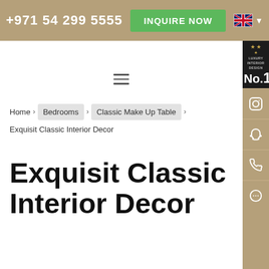+971 54 299 5555 | INQUIRE NOW
[Figure (screenshot): Hamburger/menu icon with three horizontal lines]
Home > Bedrooms > Classic Make Up Table > Exquisit Classic Interior Decor
Exquisit Classic Interior Decor
[Figure (infographic): Right sidebar with luxury interior design badge (No. 1), Instagram icon, Snapchat icon, phone icon, and chat icon on gold/brown background]